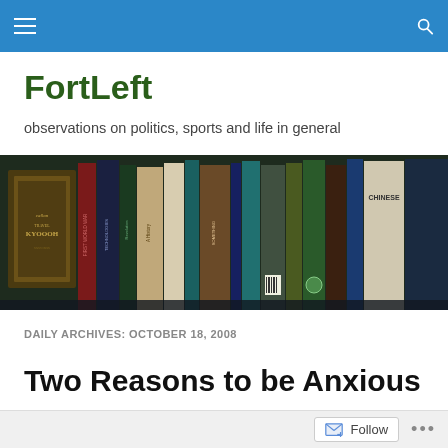FortLeft — blog navigation header with menu and search icons
FortLeft
observations on politics, sports and life in general
[Figure (photo): A close-up photo of a bookshelf with various books standing upright, spines visible, in dim/dark lighting.]
DAILY ARCHIVES: OCTOBER 18, 2008
Two Reasons to be Anxious
Follow  •••